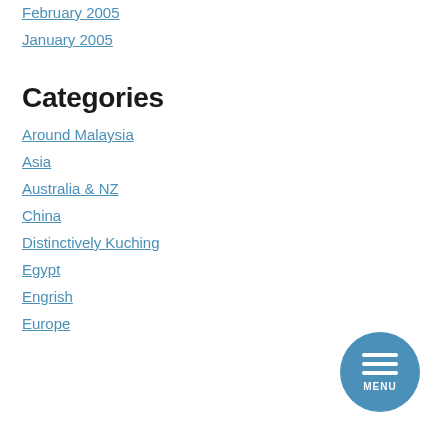February 2005
January 2005
Categories
Around Malaysia
Asia
Australia & NZ
China
Distinctively Kuching
Egypt
Engrish
Europe